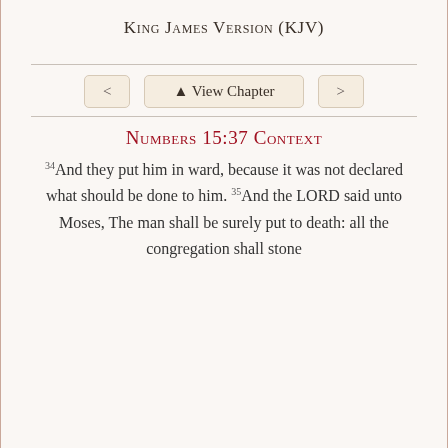King James Version (KJV)
Numbers 15:37 Context
34And they put him in ward, because it was not declared what should be done to him. 35And the LORD said unto Moses, The man shall be surely put to death: all the congregation shall stone